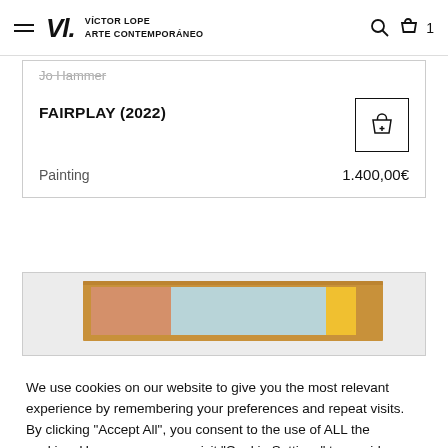Víctor Lope Arte Contemporáneo
Jo Hammer
FAIRPLAY (2022)
Painting	1.400,00€
[Figure (photo): Partial view of a painting with salmon/pink, light blue, and yellow color blocks in a wooden frame]
We use cookies on our website to give you the most relevant experience by remembering your preferences and repeat visits. By clicking "Accept All", you consent to the use of ALL the cookies. However, you may visit "Cookie Settings" to provide a controlled consent.
Cookie Settings
Accept All